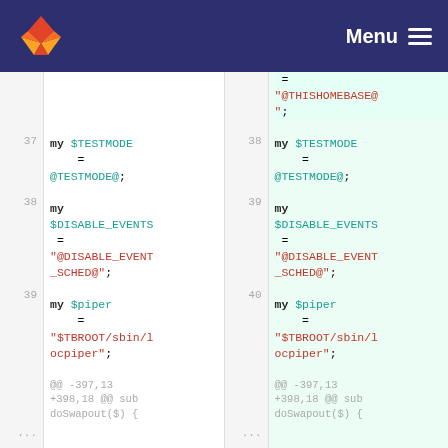GitLab — Menu
[Figure (screenshot): Code diff view showing Perl source file comparison. Left side shows old version (lines 37-39, 397-398), right side shows new version (lines 38-40, 398-399). Code contains: my $TESTMODE = @TESTMODE@; my $DISABLE_EVENTS = "@DISABLE_EVENT_SCHED@"; my $piper = "$TBROOT/sbin/locpiper"; and hunk header @@ -397,13 +398,18 @@ sub doSwapout($) {]